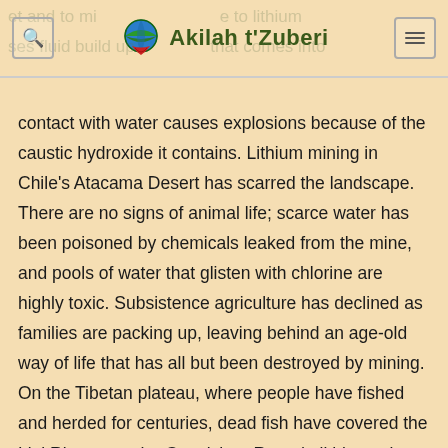Akilah t'Zuberi
contact with water causes explosions because of the caustic hydroxide it contains. Lithium mining in Chile's Atacama Desert has scarred the landscape. There are no signs of animal life; scarce water has been poisoned by chemicals leaked from the mine, and pools of water that glisten with chlorine are highly toxic. Subsistence agriculture has declined as families are packing up, leaving behind an age-old way of life that has all but been destroyed by mining. On the Tibetan plateau, where people have fished and herded for centuries, dead fish have covered the Liqi River near the Ganzizhou Rongda lithium mine. The people of this area have had the mine shut down three times. Three times the government has reopened it.